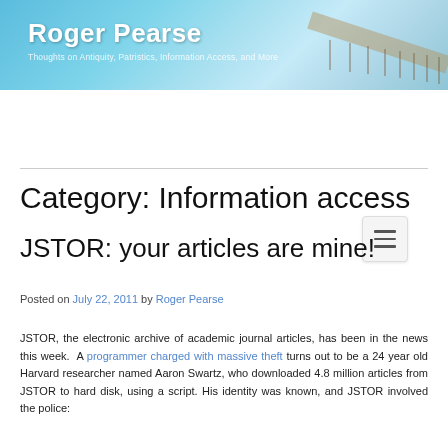[Figure (photo): Roger Pearse blog header banner with ocean pier background, white title text 'Roger Pearse' and subtitle 'Thoughts on Antiquity, Patristics, Information Access, and More']
Category: Information access
JSTOR: your articles are mine!
Posted on July 22, 2011 by Roger Pearse
JSTOR, the electronic archive of academic journal articles, has been in the news this week. A programmer charged with massive theft turns out to be a 24 year old Harvard researcher named Aaron Swartz, who downloaded 4.8 million articles from JSTOR to hard disk, using a script. His identity was known, and JSTOR involved the police: